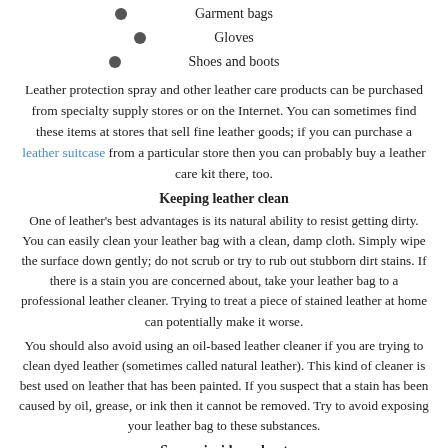Garment bags
Gloves
Shoes and boots
Leather protection spray and other leather care products can be purchased from specialty supply stores or on the Internet. You can sometimes find these items at stores that sell fine leather goods; if you can purchase a leather suitcase from a particular store then you can probably buy a leather care kit there, too.
Keeping leather clean
One of leather's best advantages is its natural ability to resist getting dirty. You can easily clean your leather bag with a clean, damp cloth. Simply wipe the surface down gently; do not scrub or try to rub out stubborn dirt stains. If there is a stain you are concerned about, take your leather bag to a professional leather cleaner. Trying to treat a piece of stained leather at home can potentially make it worse.
You should also avoid using an oil-based leather cleaner if you are trying to clean dyed leather (sometimes called natural leather). This kind of cleaner is best used on leather that has been painted. If you suspect that a stain has been caused by oil, grease, or ink then it cannot be removed. Try to avoid exposing your leather bag to these substances.
Secure inside and out